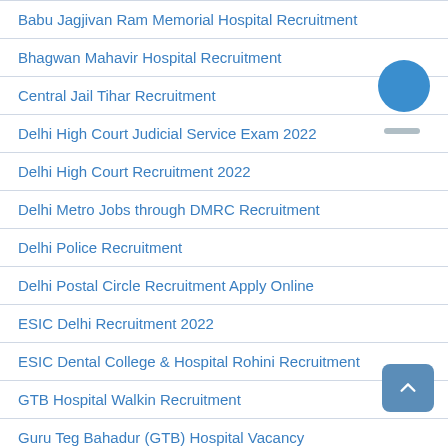Babu Jagjivan Ram Memorial Hospital Recruitment
Bhagwan Mahavir Hospital Recruitment
Central Jail Tihar Recruitment
Delhi High Court Judicial Service Exam 2022
Delhi High Court Recruitment 2022
Delhi Metro Jobs through DMRC Recruitment
Delhi Police Recruitment
Delhi Postal Circle Recruitment Apply Online
ESIC Delhi Recruitment 2022
ESIC Dental College & Hospital Rohini Recruitment
GTB Hospital Walkin Recruitment
Guru Teg Bahadur (GTB) Hospital Vacancy
ICSIL Recruitment 2022 Apply Online
IIT Delhi Recruitment Vacancy 2022
Indraprastha College for Women Recruitment